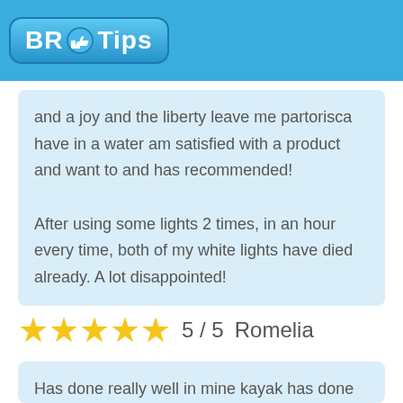[Figure (logo): BR Tips logo with blue rounded rectangle background, thumbs up icon, text BR Tips]
and a joy and the liberty leave me partorisca have in a water am satisfied with a product and want to and has recommended!
After using some lights 2 times, in an hour every time, both of my white lights have died already. A lot disappointed!
★★★★★  5 / 5   Romelia
Has done really well in mine kayak has done exactly that has thinks that would do partorisca give me running lights partorisca fish at night of squide of the time